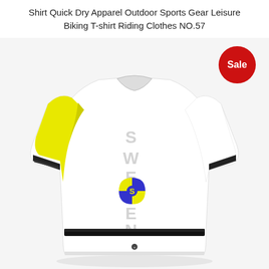Shirt Quick Dry Apparel Outdoor Sports Gear Leisure Biking T-shirt Riding Clothes NO.57
[Figure (photo): Back view of a white cycling jersey with yellow panel on left side, black trim on sleeves and waist, 'SWEDEN' text printed vertically on the back, Swedish emblem logo in the center, and a black horizontal waistband stripe. A red 'Sale' badge is overlaid in the top-right corner.]